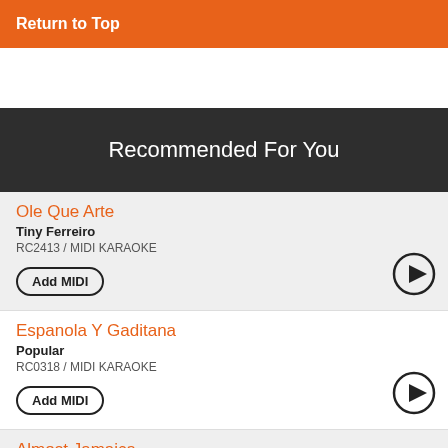Return to Top
Recommended For You
Ole Que Arte
Tiny Ferreiro
RC2413 / MIDI KARAOKE
Add MIDI
Espanola Y Gaditana
Popular
RC0318 / MIDI KARAOKE
Add MIDI
Almost Jamaica